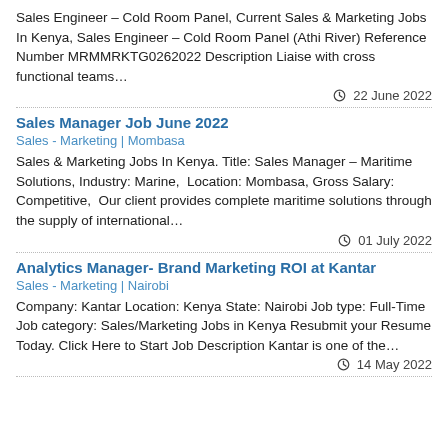Sales Engineer – Cold Room Panel, Current Sales & Marketing Jobs In Kenya, Sales Engineer – Cold Room Panel (Athi River) Reference Number MRMMRKTG0262022 Description Liaise with cross functional teams…
22 June 2022
Sales Manager Job June 2022
Sales - Marketing | Mombasa
Sales & Marketing Jobs In Kenya. Title: Sales Manager – Maritime Solutions, Industry: Marine,  Location: Mombasa, Gross Salary: Competitive,  Our client provides complete maritime solutions through the supply of international…
01 July 2022
Analytics Manager- Brand Marketing ROI at Kantar
Sales - Marketing | Nairobi
Company: Kantar Location: Kenya State: Nairobi Job type: Full-Time Job category: Sales/Marketing Jobs in Kenya Resubmit your Resume Today. Click Here to Start Job Description Kantar is one of the…
14 May 2022